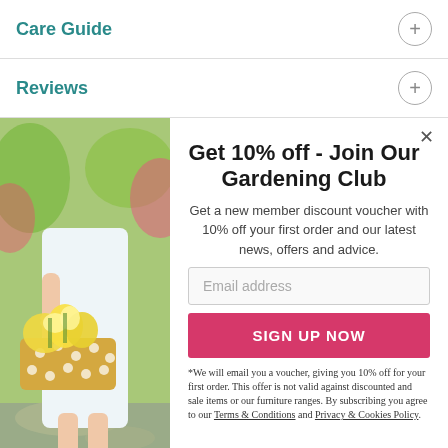Care Guide
Reviews
[Figure (photo): Woman in white dress holding a wicker basket filled with yellow flowers, standing on stone steps in a garden]
Get 10% off - Join Our Gardening Club
Get a new member discount voucher with 10% off your first order and our latest news, offers and advice.
Email address
SIGN UP NOW
*We will email you a voucher, giving you 10% off for your first order. This offer is not valid against discounted and sale items or our furniture ranges. By subscribing you agree to our Terms & Conditions and Privacy & Cookies Policy.